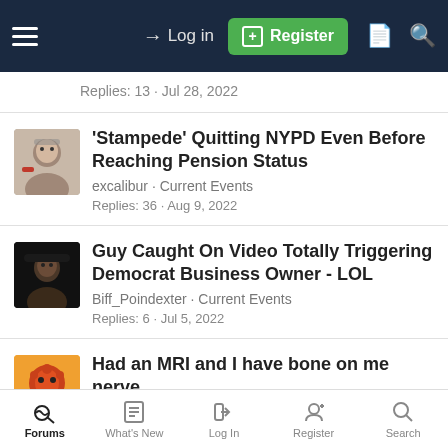Log in | Register
Replies: 13 · Jul 28, 2022
'Stampede' Quitting NYPD Even Before Reaching Pension Status
excalibur · Current Events
Replies: 36 · Aug 9, 2022
Guy Caught On Video Totally Triggering Democrat Business Owner - LOL
Biff_Poindexter · Current Events
Replies: 6 · Jul 5, 2022
Had an MRI and I have bone on me nerve
Quasar44 · Health and Lifestyle
Forums | What's New | Log In | Register | Search